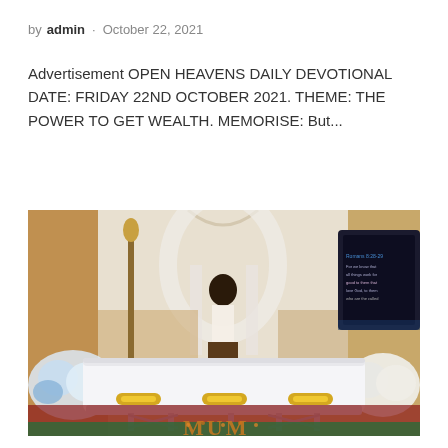by admin · October 22, 2021
Advertisement OPEN HEAVENS DAILY DEVOTIONAL DATE: FRIDAY 22ND OCTOBER 2021. THEME: THE POWER TO GET WEALTH. MEMORISE: But...
[Figure (photo): A white casket with gold handles displayed at a church funeral service, flanked by floral arrangements. A person stands at a podium in the background under a decorated arch. A screen displaying text is visible to the right. The word MUM is spelled in flowers at the base of the casket stand.]